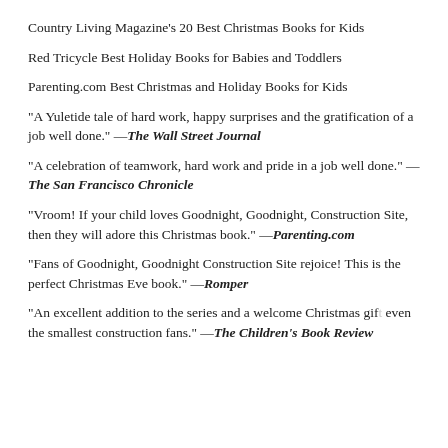Country Living Magazine's 20 Best Christmas Books for Kids
Red Tricycle Best Holiday Books for Babies and Toddlers
Parenting.com Best Christmas and Holiday Books for Kids
"A Yuletide tale of hard work, happy surprises and the gratification of a job well done." —The Wall Street Journal
"A celebration of teamwork, hard work and pride in a job well done." —The San Francisco Chronicle
"Vroom! If your child loves Goodnight, Goodnight, Construction Site, then they will adore this Christmas book." —Parenting.com
"Fans of Goodnight, Goodnight Construction Site rejoice! This is the perfect Christmas Eve book." —Romper
"An excellent addition to the series and a welcome Christmas gift even the smallest construction fans." —The Children's Book Review